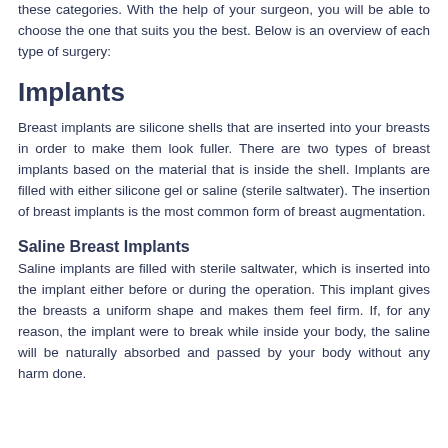these categories. With the help of your surgeon, you will be able to choose the one that suits you the best. Below is an overview of each type of surgery:
Implants
Breast implants are silicone shells that are inserted into your breasts in order to make them look fuller. There are two types of breast implants based on the material that is inside the shell. Implants are filled with either silicone gel or saline (sterile saltwater). The insertion of breast implants is the most common form of breast augmentation.
Saline Breast Implants
Saline implants are filled with sterile saltwater, which is inserted into the implant either before or during the operation. This implant gives the breasts a uniform shape and makes them feel firm. If, for any reason, the implant were to break while inside your body, the saline will be naturally absorbed and passed by your body without any harm done.